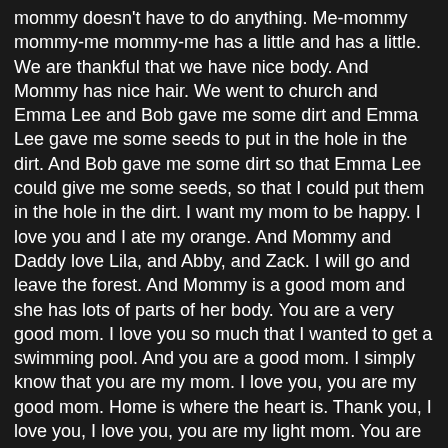mommy doesn't have to do anything. Me-mommy mommy-me mommy-me has a little and has a little. We are thankful that we have nice body. And Mommy has nice hair. We went to church and Emma Lee and Bob gave me some dirt and Emma Lee gave me some seeds to put in the hole in the dirt. And Bob gave me some dirt so that Emma Lee could give me some seeds, so that I could put them in the hole in the dirt. I want my mom to be happy. I love you and I ate my orange. And Mommy and Daddy love Lila, and Abby, and Zack. I will go and leave the forest. And Mommy is a good mom and she has lots of parts of her body. You are a very good mom. I love you so much that I wanted to get a swimming pool. And you are a good mom. I simply know that you are my mom. I love you, you are my good mom. Home is where the heart is. Thank you, I love you, I love you, you are my light mom. You are my love it, light, burned mom. My mom is a good mom and I love her so.
[This part is sung in verse:]
"I love you and I would love you if you were my mom, and you would go to bed and has gone to bed, and has gone to bed, and in love it the momma, you love it in the the tomma,